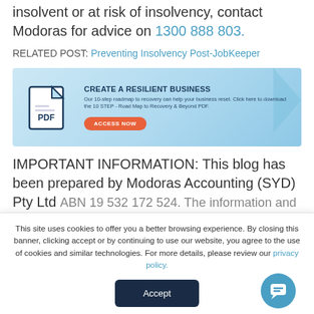insolvent or at risk of insolvency, contact Modoras for advice on 1300 888 803.
RELATED POST: Preventing Insolvency Post-JobKeeper
[Figure (infographic): PDF banner with document icon, arrow shape background, title 'CREATE A RESILIENT BUSINESS', description text, and orange ACCESS NOW button]
IMPORTANT INFORMATION: This blog has been prepared by Modoras Accounting (SYD) Pty Ltd ABN 19 532 172 524. The information...
This site uses cookies to offer you a better browsing experience. By closing this banner, clicking accept or by continuing to use our website, you agree to the use of cookies and similar technologies. For more details, please review our privacy policy.